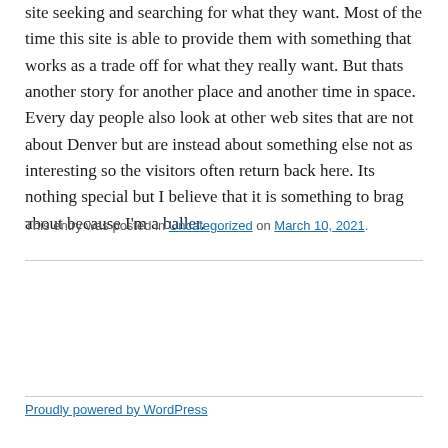site seeking and searching for what they want. Most of the time this site is able to provide them with something that works as a trade off for what they really want. But thats another story for another place and another time in space. Every day people also look at other web sites that are not about Denver but are instead about something else not as interesting so the visitors often return back here. Its nothing special but I believe that it is something to brag about because I'm a baller.
This entry was posted in Uncategorized on March 10, 2021.
Proudly powered by WordPress